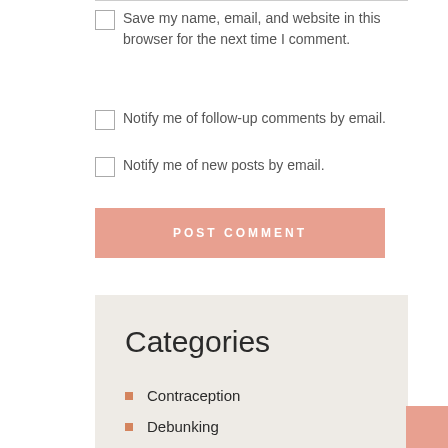Save my name, email, and website in this browser for the next time I comment.
Notify me of follow-up comments by email.
Notify me of new posts by email.
POST COMMENT
Categories
Contraception
Debunking
Education
Fertility